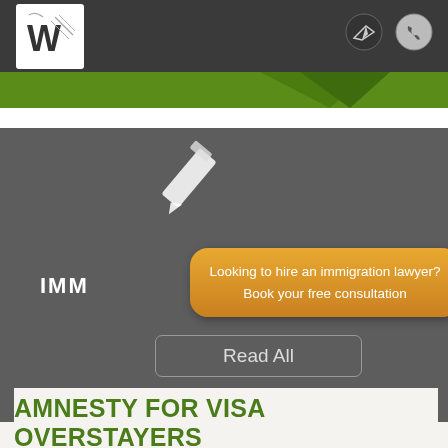[Figure (screenshot): Website header bar with logo (W with pen icon) on dark background, with send/phone icon buttons on the right]
[Figure (illustration): White pencil icon on gray background section]
IMM
Looking to hire an immigration lawyer? Book your free consultation
Read All
AMNESTY FOR VISA OVERSTAYERS